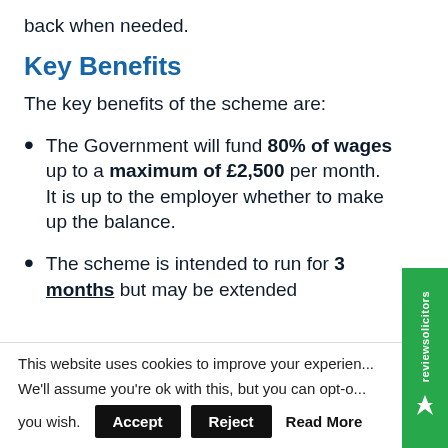back when needed.
Key Benefits
The key benefits of the scheme are:
The Government will fund 80% of wages up to a maximum of £2,500 per month. It is up to the employer whether to make up the balance.
The scheme is intended to run for 3 months but may be extended
This website uses cookies to improve your experience. We'll assume you're ok with this, but you can opt-out if you wish.
Accept  Reject  Read More